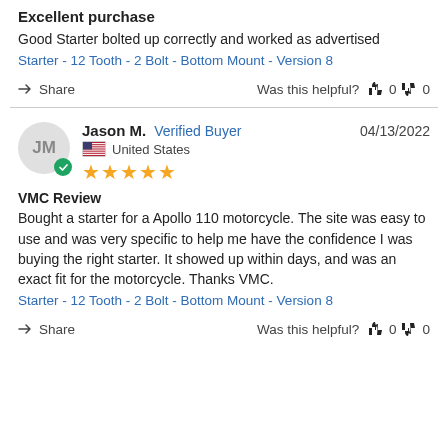Excellent purchase
Good Starter bolted up correctly and worked as advertised
Starter - 12 Tooth - 2 Bolt - Bottom Mount - Version 8
Share   Was this helpful?  👍 0  👎 0
Jason M.  Verified Buyer   04/13/2022
United States
★★★★★
VMC Review
Bought a starter for a Apollo 110 motorcycle. The site was easy to use and was very specific to help me have the confidence I was buying the right starter. It showed up within days, and was an exact fit for the motorcycle. Thanks VMC.
Starter - 12 Tooth - 2 Bolt - Bottom Mount - Version 8
Share   Was this helpful?  👍 0  👎 0